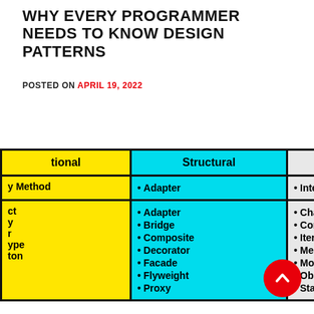WHY EVERY PROGRAMMER NEEDS TO KNOW DESIGN PATTERNS
POSTED ON APRIL 19, 2022
| tional (Creational) | Structural | Behavioral |
| --- | --- | --- |
| y Method (Factory Method) | • Adapter | • Interperter |
| ct (Abstract)
y (Prototype)
r (Builder)
ype (Prototype)
ton (Singleton) | • Adapter
• Bridge
• Composite
• Decorator
• Facade
• Flyweight
• Proxy | • Chain of Responsibility
• Command
• Iterator
• Mediator
• Momento
• Observer
• State |